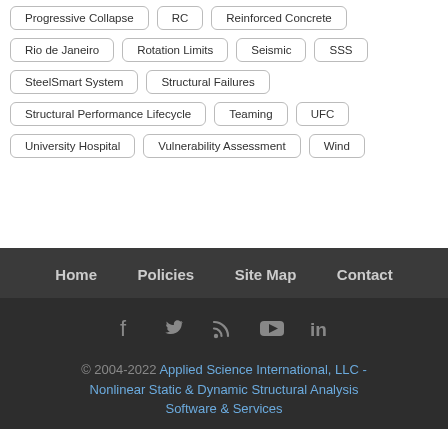Progressive Collapse
RC
Reinforced Concrete
Rio de Janeiro
Rotation Limits
Seismic
SSS
SteelSmart System
Structural Failures
Structural Performance Lifecycle
Teaming
UFC
University Hospital
Vulnerability Assessment
Wind
Home  Policies  Site Map  Contact
© 2004-2022 Applied Science International, LLC - Nonlinear Static & Dynamic Structural Analysis Software & Services